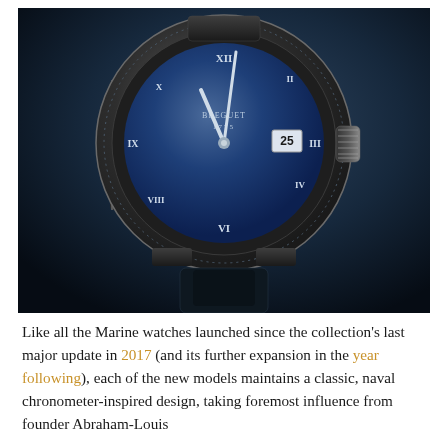[Figure (photo): Close-up product photograph of a Breguet Marine luxury watch with a deep blue dial, Roman numeral hour markers, silver hands, date window showing '25', fluted case side, and dark strap/bracelet. The watch is photographed against a dark navy/black gradient background.]
Like all the Marine watches launched since the collection's last major update in 2017 (and its further expansion in the year following), each of the new models maintains a classic, naval chronometer-inspired design, taking foremost influence from founder Abraham-Louis